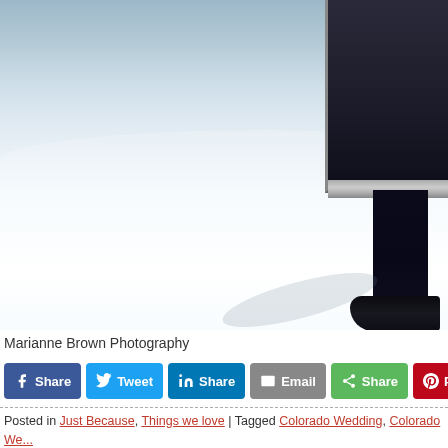[Figure (photo): A snowy winter outdoor scene with a person's legs in dark trousers and black dress shoes walking near a dark vehicle, snow-covered landscape in background.]
Marianne Brown Photography
Share  Tweet  Share  Email  Share  Pin
Posted in Just Because, Things we love | Tagged Colorado Wedding, Colorado We... Favorite Wedding Moments, Mountain Wedding, Mountain Wedding Coordinator, Mo...